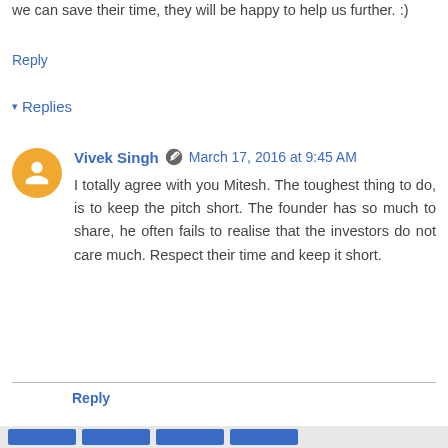we can save their time, they will be happy to help us further. :)
Reply
▾ Replies
Vivek Singh   March 17, 2016 at 9:45 AM
I totally agree with you Mitesh. The toughest thing to do, is to keep the pitch short. The founder has so much to share, he often fails to realise that the investors do not care much. Respect their time and keep it short.
Reply